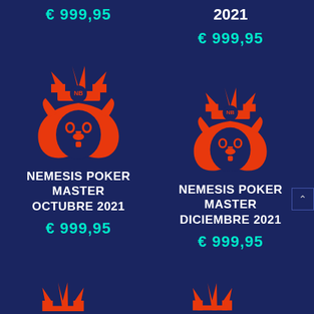€ 999,95
2021
€ 999,95
[Figure (logo): Nemesis Bet lion head logo with crown, orange on dark blue, letters NB on crown]
NEMESIS POKER MASTER OCTUBRE 2021
€ 999,95
[Figure (logo): Nemesis Bet lion head logo with crown, orange on dark blue, letters NB on crown]
NEMESIS POKER MASTER DICIEMBRE 2021
€ 999,95
[Figure (logo): Partial Nemesis Bet lion head logo bottom cropped]
[Figure (logo): Partial Nemesis Bet lion head logo bottom cropped]